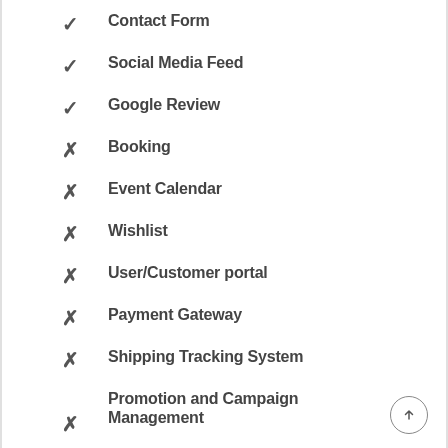✓ Contact Form
✓ Social Media Feed
✓ Google Review
✗ Booking
✗ Event Calendar
✗ Wishlist
✗ User/Customer portal
✗ Payment Gateway
✗ Shipping Tracking System
✗ Promotion and Campaign Management